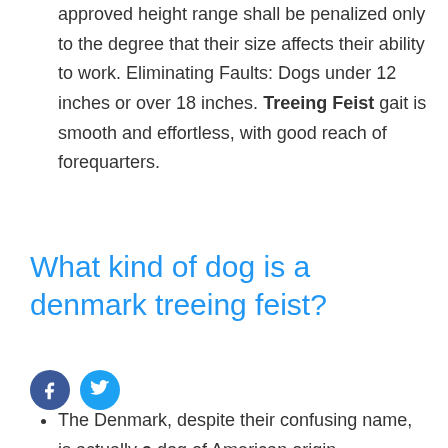approved height range shall be penalized only to the degree that their size affects their ability to work. Eliminating Faults: Dogs under 12 inches or over 18 inches. Treeing Feist gait is smooth and effortless, with good reach of forequarters.
What kind of dog is a denmark treeing feist?
[Figure (other): Social media icons: Facebook (blue circle with f) and Twitter (blue circle with bird)]
The Denmark, despite their confusing name, is actually a dog of American origin. Descended